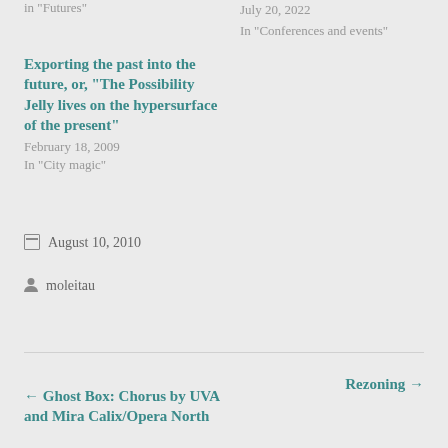in "Futures"
July 20, 2022
In "Conferences and events"
Exporting the past into the future, or, “The Possibility Jelly lives on the hypersurface of the present”
February 18, 2009
In "City magic"
August 10, 2010
moleitau
← Ghost Box: Chorus by UVA and Mira Calix/Opera North
Rezoning →